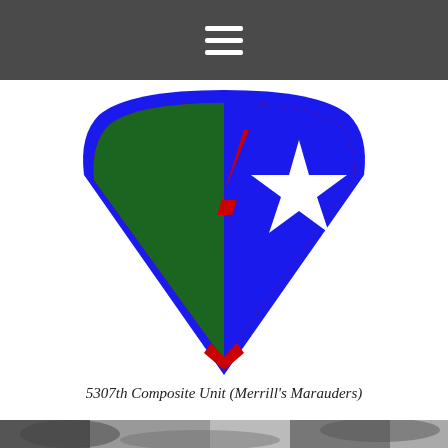Navigation menu (hamburger icon)
[Figure (illustration): Military unit insignia shield for the 5307th Composite Unit (Merrill's Marauders). The shield is split vertically: left half is dark green with a red lightning bolt, right half is blue with a white five-pointed star. The shield has a blue border with a red inner outline and a red chevron at the bottom point.]
5307th Composite Unit (Merrill's Marauders)
[Figure (photo): Black and white historical photograph showing soldiers in jungle terrain, partially visible at the bottom of the page.]